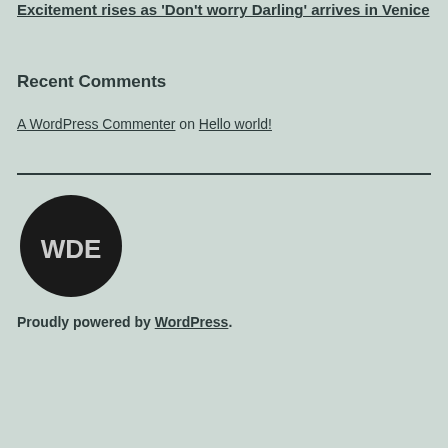Excitement rises as 'Don't worry Darling' arrives in Venice
Recent Comments
A WordPress Commenter on Hello world!
[Figure (logo): Black circular logo with white letters WDE]
Proudly powered by WordPress.